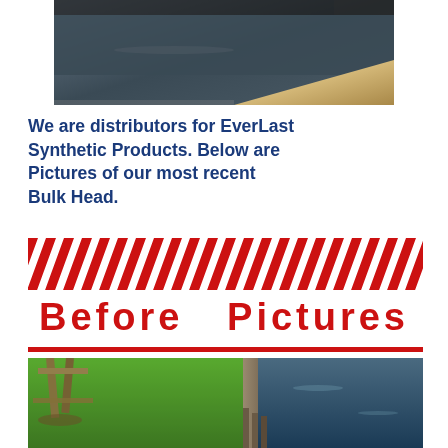[Figure (photo): Top portion of a photo showing a dark surface (possibly a pool or synthetic decking) with wooden edging in the lower right]
We are distributors for EverLast Synthetic Products. Below are Pictures of our most recent Bulk Head.
[Figure (illustration): Decorative red diagonal stripe pattern divider]
Before   Pictures
[Figure (photo): Before photo showing an old wooden bulkhead/seawall along a waterway with green lawn and a wooden swing set in the background]